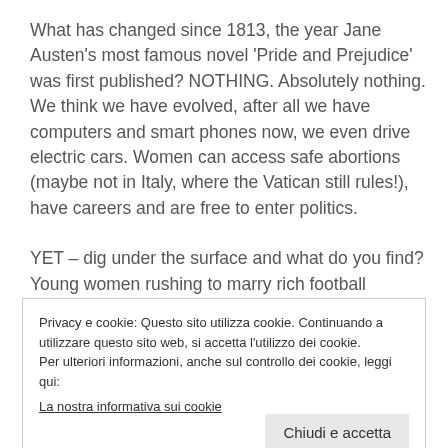What has changed since 1813, the year Jane Austen's most famous novel 'Pride and Prejudice' was first published? NOTHING. Absolutely nothing. We think we have evolved, after all we have computers and smart phones now, we even drive electric cars. Women can access safe abortions (maybe not in Italy, where the Vatican still rules!), have careers and are free to enter politics.

YET – dig under the surface and what do you find? Young women rushing to marry rich football
Privacy e cookie: Questo sito utilizza cookie. Continuando a utilizzare questo sito web, si accetta l'utilizzo dei cookie. Per ulteriori informazioni, anche sul controllo dei cookie, leggi qui: La nostra informativa sui cookie
under the surface, you find the same 19th century